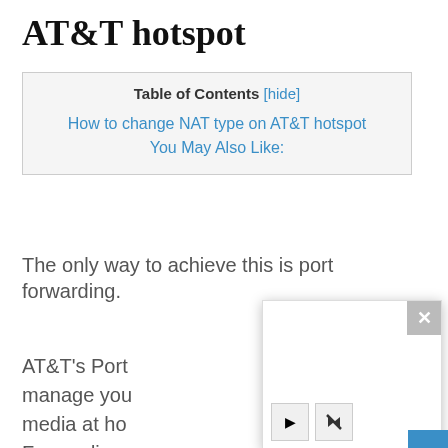AT&T hotspot
| Table of Contents [hide] |
| --- |
| How to change NAT type on AT&T hotspot |
| You May Also Like: |
The only way to achieve this is port forwarding.
AT&T's Port manage you media at ho Forwarding cameras, pla streaming d
[Figure (screenshot): A video player popup overlay with a close (X) button in the top-right corner and play/mute control buttons at the bottom-left.]